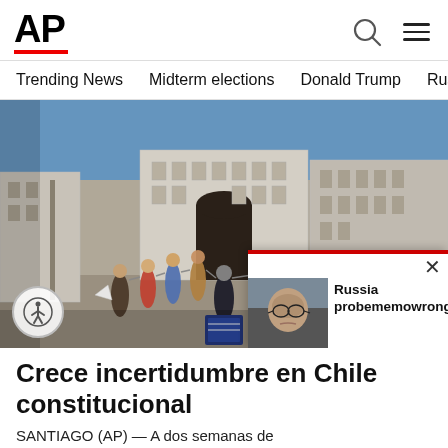AP
Trending News  Midterm elections  Donald Trump  Russia-Ukr
[Figure (photo): People dancing in a circle in a large plaza in front of a grand government building (La Moneda Palace) in Santiago, Chile, under a blue sky. A popup overlay in the bottom right shows a photo of a man with glasses and the text 'Russia probememowrong...' with a close button.]
Crece incertidumbre en Chile constitucional
SANTIAGO (AP) — A dos semanas de